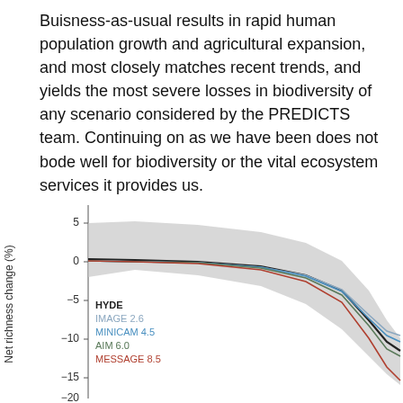Buisness-as-usual results in rapid human population growth and agricultural expansion, and most closely matches recent trends, and yields the most severe losses in biodiversity of any scenario considered by the PREDICTS team. Continuing on as we have been does not bode well for biodiversity or the vital ecosystem services it provides us.
[Figure (continuous-plot): Line chart showing net richness change (%) over time for five scenarios: HYDE (black, with grey confidence band), IMAGE 2.6 (light grey/blue), MINICAM 4.5 (blue), AIM 6.0 (green), MESSAGE 8.5 (red/brown). All start near 0%, decline gradually, then sharply diverge toward the right. HYDE drops to about -13%, MESSAGE 8.5 drops lowest to about -18%, while IMAGE 2.6 stays around -11%. Y-axis shows 5, 0, -5, -10, -15, -20.]